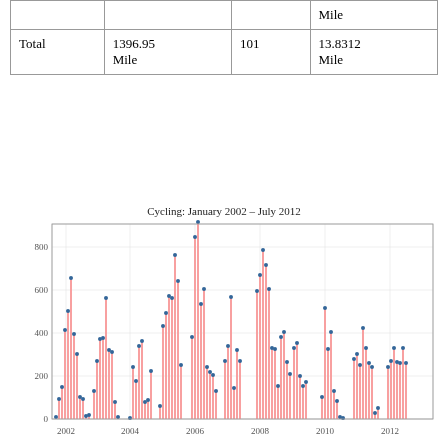|  |  |  | Mile |
| --- | --- | --- | --- |
| Total | 1396.95 Mile | 101 | 13.8312 Mile |
Cycling: January 2002 – July 2012
[Figure (bar-chart): Bar chart with dots showing monthly cycling miles from January 2002 to July 2012, with pink bars and dark blue dot markers. Y-axis ranges from 0 to ~900. Multiple peaks visible around 2006 (~900), 2008 (~780).]